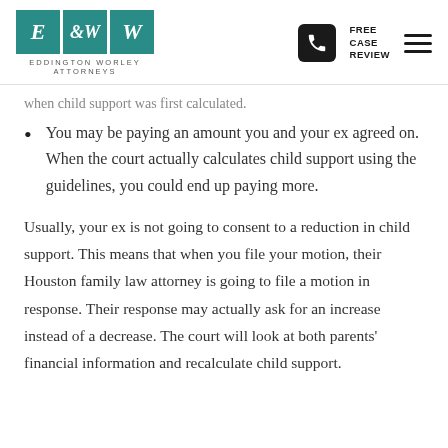Eddington Worley Attorneys — E & W logo, phone icon, FREE CASE REVIEW, hamburger menu
You may be paying an amount you and your ex agreed on. When the court actually calculates child support using the guidelines, you could end up paying more.
Usually, your ex is not going to consent to a reduction in child support. This means that when you file your motion, their Houston family law attorney is going to file a motion in response. Their response may actually ask for an increase instead of a decrease. The court will look at both parents' financial information and recalculate child support.